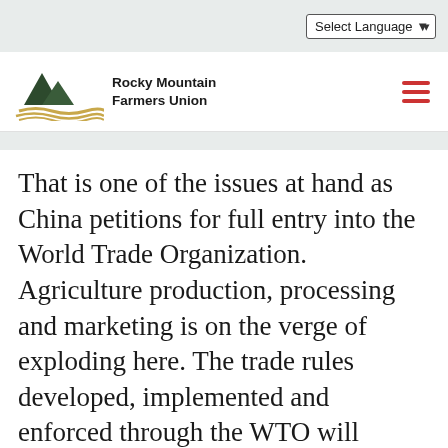Select Language
[Figure (logo): Rocky Mountain Farmers Union logo with mountain and wave graphic]
That is one of the issues at hand as China petitions for full entry into the World Trade Organization. Agriculture production, processing and marketing is on the verge of exploding here. The trade rules developed, implemented and enforced through the WTO will determine in large part the manner in which Chinese agriculture develops. A system of rules that allows the large agribusiness